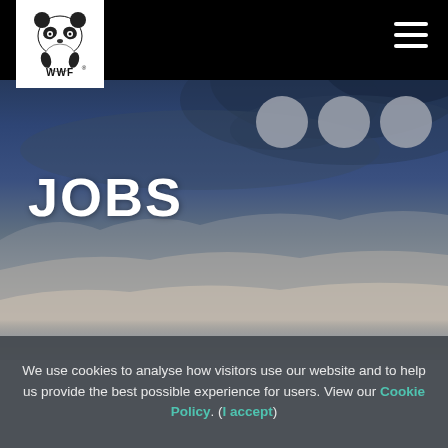[Figure (logo): WWF panda logo in black and white, with 'WWF' text below, on white background]
[Figure (photo): Stormy dramatic sky with dark blue clouds and lighter misty clouds at bottom — hero banner background image]
JOBS
We use cookies to analyse how visitors use our website and to help us provide the best possible experience for users. View our Cookie Policy. (I accept)